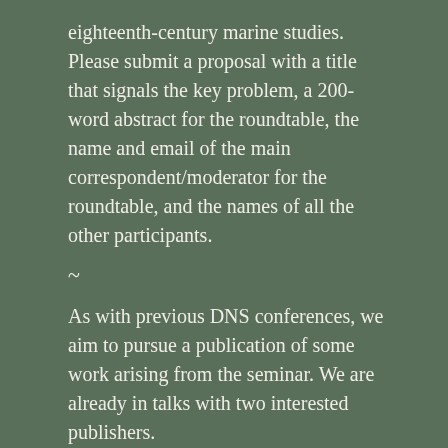eighteenth-century marine studies. Please submit a proposal with a title that signals the key problem, a 200-word abstract for the roundtable, the name and email of the main correspondent/moderator for the roundtable, and the names of all the other participants.
~
As with previous DNS conferences, we aim to pursue a publication of some work arising from the seminar. We are already in talks with two interested publishers.
Convenors: Kristie Flannery, Kate Fullagar, Killian Quigley
Australian Catholic University, dns.xviii@gmail.com
https://dnsxviii2022.org